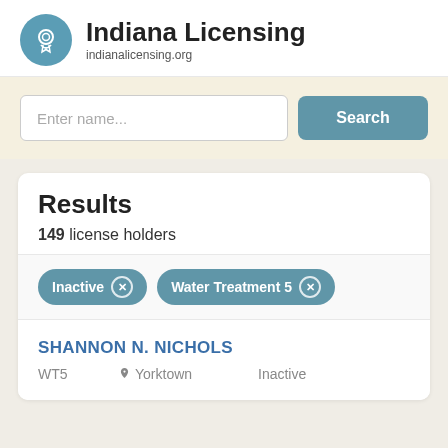Indiana Licensing
indianalicensing.org
Enter name...
Search
Results
149 license holders
Inactive
Water Treatment 5
SHANNON N. NICHOLS
WT5  Yorktown  Inactive